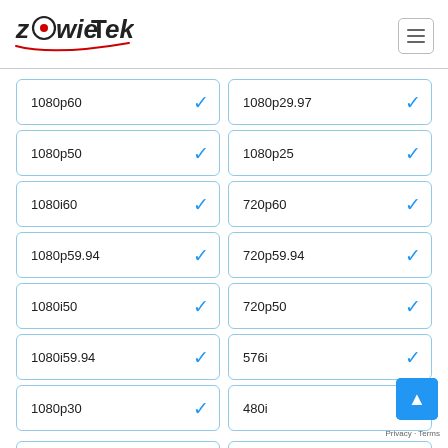[Figure (logo): ZowieTek logo with stylized text and red dot in the O, with a red swoosh underline]
| Format | Supported | Format | Supported |
| --- | --- | --- | --- |
| 1080p60 | ✓ | 1080p29.97 | ✓ |
| 1080p50 | ✓ | 1080p25 | ✓ |
| 1080i60 | ✓ | 720p60 | ✓ |
| 1080p59.94 | ✓ | 720p59.94 | ✓ |
| 1080i50 | ✓ | 720p50 | ✓ |
| 1080i59.94 | ✓ | 576i | ✓ |
| 1080p30 | ✓ | 480i | ✓ |